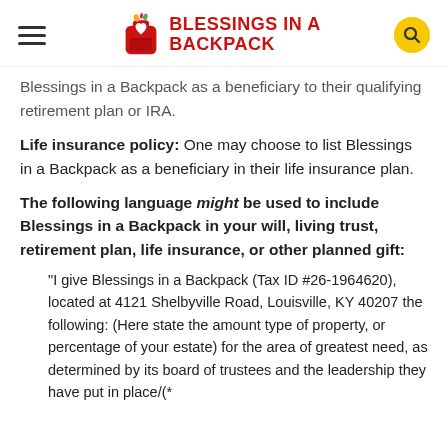Blessings in a Backpack
Blessings in a Backpack as a beneficiary to their qualifying retirement plan or IRA.
Life insurance policy: One may choose to list Blessings in a Backpack as a beneficiary in their life insurance plan.
The following language might be used to include Blessings in a Backpack in your will, living trust, retirement plan, life insurance, or other planned gift:
“I give Blessings in a Backpack (Tax ID #26-1964620), located at 4121 Shelbyville Road, Louisville, KY 40207 the following: (Here state the amount type of property, or percentage of your estate) for the area of greatest need, as determined by its board of trustees and the leadership they have put in place/(*